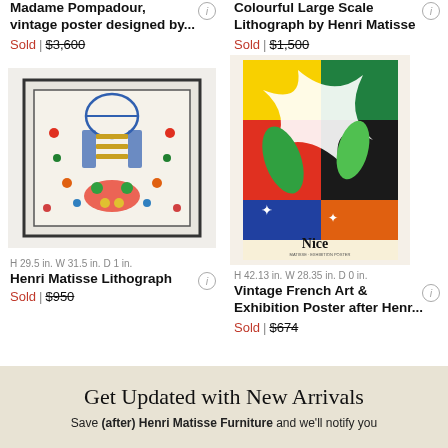Madame Pompadour, vintage poster designed by...
Sold | $3,600
Colourful Large Scale Lithograph by Henri Matisse
Sold | $1,500
[Figure (photo): Framed Henri Matisse lithograph with colorful floral and decorative motifs on light background]
[Figure (photo): Colorful vintage French exhibition poster 'Nice' after Henri Matisse with bold tropical floral design]
H 29.5 in. W 31.5 in. D 1 in.
Henri Matisse Lithograph
Sold | $950
H 42.13 in. W 28.35 in. D 0 in.
Vintage French Art & Exhibition Poster after Henr...
Sold | $674
Get Updated with New Arrivals
Save (after) Henri Matisse Furniture and we'll notify you